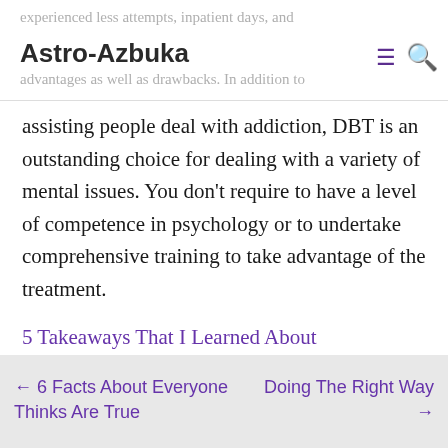Astro-Azbuka
experienced less attempts, inpatient days, and advantages as well as drawbacks. In addition to assisting people deal with addiction, DBT is an outstanding choice for dealing with a variety of mental issues. You don't require to have a level of competence in psychology or to undertake comprehensive training to take advantage of the treatment.
5 Takeaways That I Learned About
The Key Elements of Great
Leave a comment
← 6 Facts About Everyone Thinks Are True
Doing The Right Way →